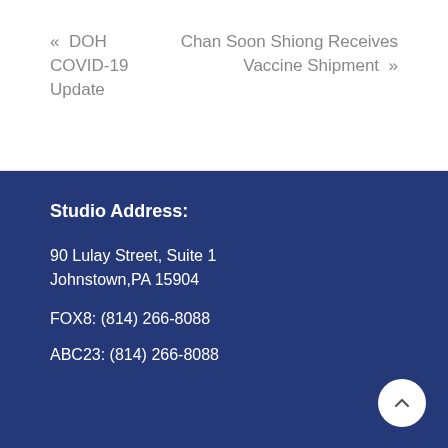« DOH COVID-19 Update
Chan Soon Shiong Receives Vaccine Shipment »
Studio Address:
90 Lulay Street, Suite 1
Johnstown,PA 15904
FOX8: (814) 266-8088
ABC23: (814) 266-8088